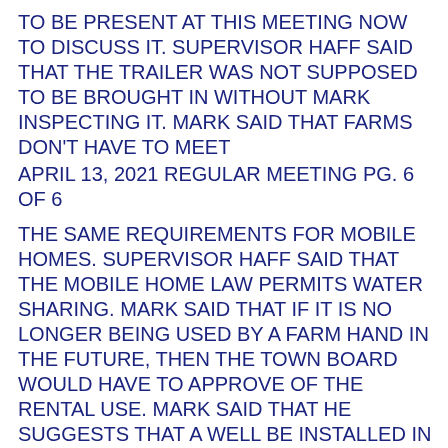TO BE PRESENT AT THIS MEETING NOW TO DISCUSS IT. SUPERVISOR HAFF SAID THAT THE TRAILER WAS NOT SUPPOSED TO BE BROUGHT IN WITHOUT MARK INSPECTING IT. MARK SAID THAT FARMS DON'T HAVE TO MEET
APRIL 13, 2021 REGULAR MEETING PG. 6 OF 6
THE SAME REQUIREMENTS FOR MOBILE HOMES. SUPERVISOR HAFF SAID THAT THE MOBILE HOME LAW PERMITS WATER SHARING. MARK SAID THAT IF IT IS NO LONGER BEING USED BY A FARM HAND IN THE FUTURE, THEN THE TOWN BOARD WOULD HAVE TO APPROVE OF THE RENTAL USE. MARK SAID THAT HE SUGGESTS THAT A WELL BE INSTALLED IN CASE OF FUTURE USE RESTRICTIONS. SUPERVISOR HAFF ASKED MARK TO SHOW IN THE LAW WHERE IT SAYS THAT IT DID NOT NEED TO BE INSPECTED BEFORE IT WAS BROUGHT INTO TOWN. THE FARM CLAUSE